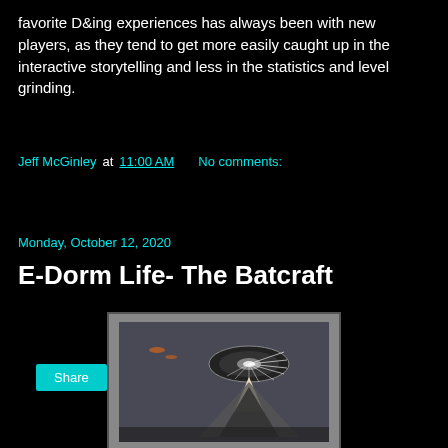favorite D&ing experiences has always been with new players, as they tend to get more easily caught up in the interactive storytelling and less in the statistics and level grinding.
Jeff McGinley at 11:00 AM   No comments:
Share
Monday, October 12, 2020
E-Dorm Life- The Batcraft
[Figure (photo): A sci-fi artwork showing a large spacecraft or space station with dramatic lighting, beams of light, and sharp geometric shapes against a dark background.]